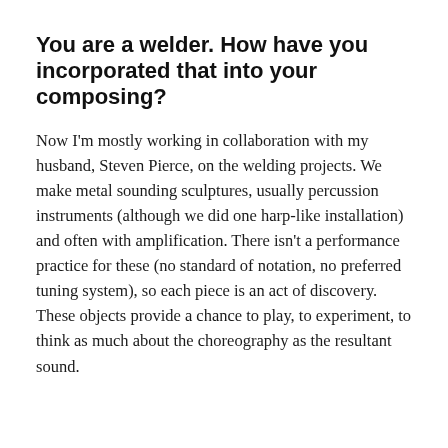You are a welder. How have you incorporated that into your composing?
Now I'm mostly working in collaboration with my husband, Steven Pierce, on the welding projects. We make metal sounding sculptures, usually percussion instruments (although we did one harp-like installation) and often with amplification. There isn't a performance practice for these (no standard of notation, no preferred tuning system), so each piece is an act of discovery. These objects provide a chance to play, to experiment, to think as much about the choreography as the resultant sound.